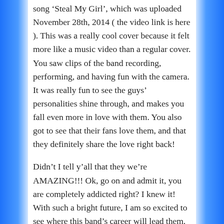song 'Steal My Girl', which was uploaded November 28th, 2014 ( the video link is here ). This was a really cool cover because it felt more like a music video than a regular cover. You saw clips of the band recording, performing, and having fun with the camera. It was really fun to see the guys' personalities shine through, and makes you fall even more in love with them. You also got to see that their fans love them, and that they definitely share the love right back!
Didn't I tell y'all that they we're AMAZING!!! Ok, go on and admit it, you are completely addicted right? I knew it! With such a bright future, I am so excited to see where this band's career will lead them. So many bands and artists have started on